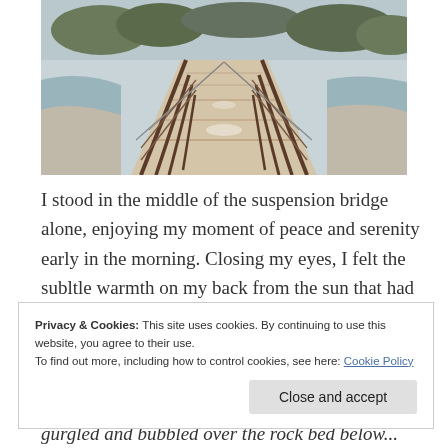[Figure (photo): A suspension bridge with wooden planks and metal railings receding into the distance, flanked by water and rocky banks on both sides, with trees and a hazy landscape in the background.]
I stood in the middle of the suspension bridge alone, enjoying my moment of peace and serenity early in the morning. Closing my eyes, I felt the subltle warmth on my back from the sun that had
Privacy & Cookies: This site uses cookies. By continuing to use this website, you agree to their use.
To find out more, including how to control cookies, see here: Cookie Policy
gurgled and bubbled over the rock bed below...